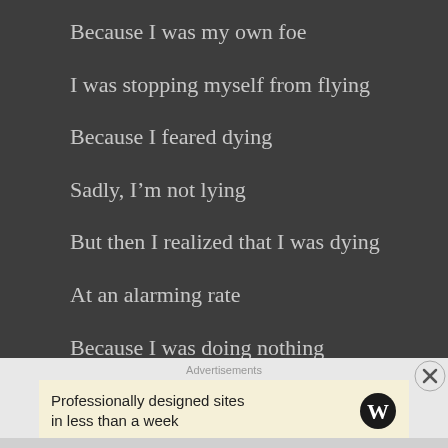Because I was my own foe
I was stopping myself from flying
Because I feared dying
Sadly, I’m not lying
But then I realized that I was dying
At an alarming rate
Because I was doing nothing
I needed to change before it was too late
Advertisements
Professionally designed sites in less than a week